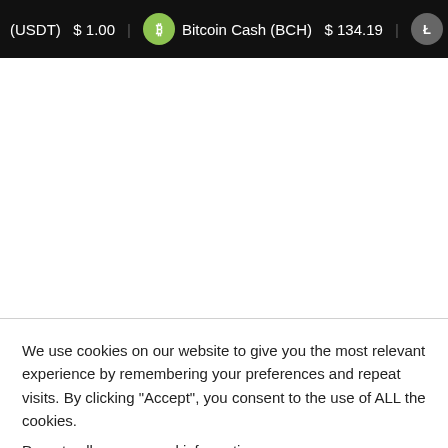(USDT)  $ 1.00   Bitcoin Cash (BCH)  $ 134.19   Litecoi
We use cookies on our website to give you the most relevant experience by remembering your preferences and repeat visits. By clicking “Accept”, you consent to the use of ALL the cookies.
Do not sell my personal information.
Cookie settings   ACCEPT